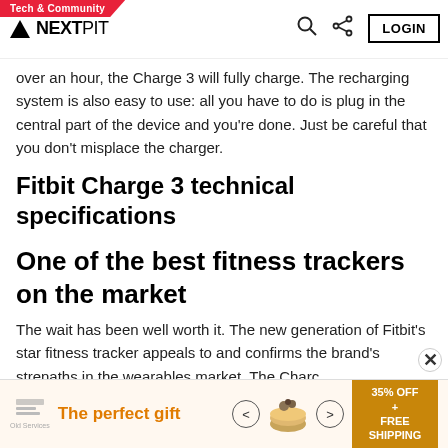Tech & Community | NEXTPIT
over an hour, the Charge 3 will fully charge. The recharging system is also easy to use: all you have to do is plug in the central part of the device and you're done. Just be careful that you don't misplace the charger.
Fitbit Charge 3 technical specifications
One of the best fitness trackers on the market
The wait has been well worth it. The new generation of Fitbit's star fitness tracker appeals to and confirms the brand's strengths in the wearables market. The Charg...
[Figure (other): Advertisement banner: The perfect gift - 35% OFF + FREE SHIPPING with bowl image]